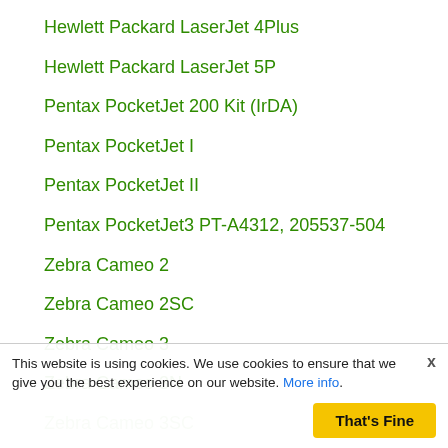Hewlett Packard LaserJet 4Plus
Hewlett Packard LaserJet 5P
Pentax PocketJet 200 Kit (IrDA)
Pentax PocketJet I
Pentax PocketJet II
Pentax PocketJet3 PT-A4312, 205537-504
Zebra Cameo 2
Zebra Cameo 2SC
Zebra Cameo 3
Zebra Cameo 3N
Zebra Cameo 3SC
Zebra Cameo PEP
Zebra Cemeo 2 Plus
This website is using cookies. We use cookies to ensure that we give you the best experience on our website. More info. That's Fine